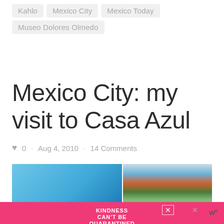Kahlo
Mexico City
Mexico Today
Museo Dolores Olmedo
Mexico City: my visit to Casa Azul
♥ 0 · Aug 4, 2010 · 14 Comments
[Figure (photo): Two photos side by side: left is blue sky/wall, right is the blue exterior of Casa Azul with a red door and foliage]
[Figure (infographic): Pink advertisement banner reading KINDNESS CAN'T BE QUARANTINED with a close button]